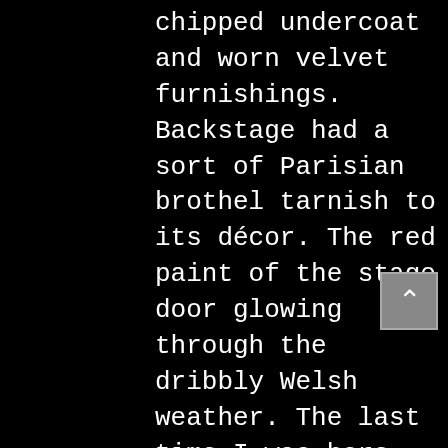chipped undercoat and worn velvet furnishings. Backstage had a sort of Parisian brothel tarnish to its décor. The red paint of the stage door glowing through the dribbly Welsh weather. The last time I was here was as a drama student – I had travelled to see Adrian Noble's production of A Midsummer Night's Dream for the RSC in 1996. I remember loving it. It was so well done that I could genuinely understand every word. Every intention, thought and expression of every character